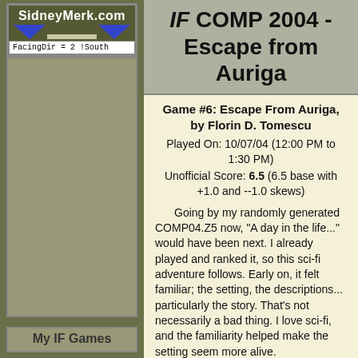[Figure (logo): SidneyMerk.com logo with blue triangles and horizontal bar]
FacingDir = 2 !South
[Figure (other): Gray map area placeholder]
My IF Games
Trading Punches
The Swordsman
Insanity Circle
IF COMP 2004 - Escape from Auriga
Game #6: Escape From Auriga, by Florin D. Tomescu
Played On: 10/07/04 (12:00 PM to 1:30 PM)
Unofficial Score: 6.5 (6.5 base with +1.0 and --1.0 skews)
Going by my randomly generated COMP04.Z5 now, "A day in the life..." would have been next. I already played and ranked it, so this sci-fi adventure follows. Early on, it felt familiar; the setting, the descriptions... particularly the story. That's not necessarily a bad thing. I love sci-fi, and the familiarity helped make the setting seem more alive.
However, it became obvious